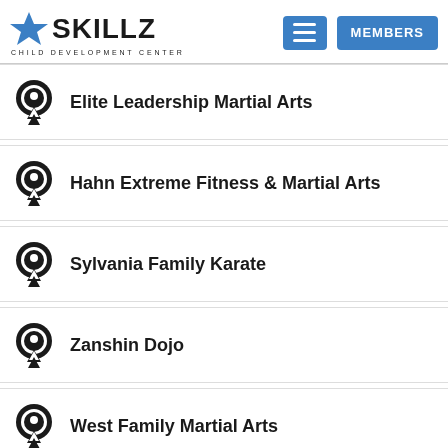SKILLZ CHILD DEVELOPMENT CENTER — MEMBERS
Elite Leadership Martial Arts
Hahn Extreme Fitness & Martial Arts
Sylvania Family Karate
Zanshin Dojo
West Family Martial Arts
KMA Sleepy Hollow